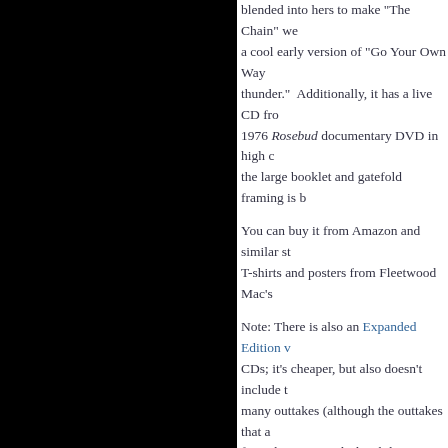blended into hers to make "The Chain" we a cool early version of "Go Your Own Way thunder."  Additionally, it has a live CD fro 1976 Rosebud documentary DVD in high c the large booklet and gatefold framing is b
You can buy it from Amazon and similar st T-shirts and posters from Fleetwood Mac's
Note: There is also an Expanded Edition v CDs; it's cheaper, but also doesn't include t many outtakes (although the outtakes that a from the reissue a little while ago - someth to save money). I say go for the super-delu
POSTED BY BUCKINGHAMNICKS.NET A
[Figure (other): Social share icons: Email, BlogThis, Share to Twitter, Share to Facebook, Share to Pinterest]
Stevie Nicks Featured on Op
Oprah Winfrey will interview Stevie for an